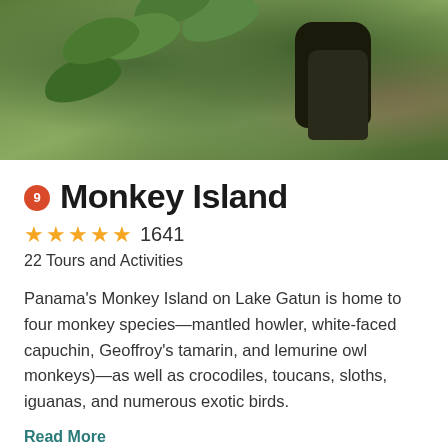[Figure (photo): Photograph of Monkey Island showing dense green tropical foliage with leaves, branches, and a dark animal figure visible among the vegetation]
9 Monkey Island
★★★★★ 1641
22 Tours and Activities
Panama's Monkey Island on Lake Gatun is home to four monkey species—mantled howler, white-faced capuchin, Geoffroy's tamarin, and lemurine owl monkeys)—as well as crocodiles, toucans, sloths, iguanas, and numerous exotic birds.
Read More